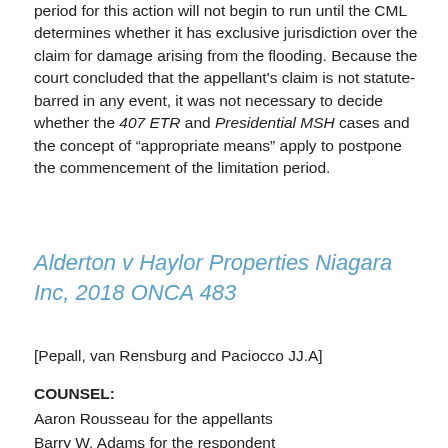period for this action will not begin to run until the CML determines whether it has exclusive jurisdiction over the claim for damage arising from the flooding. Because the court concluded that the appellant's claim is not statute-barred in any event, it was not necessary to decide whether the 407 ETR and Presidential MSH cases and the concept of “appropriate means” apply to postpone the commencement of the limitation period.
Alderton v Haylor Properties Niagara Inc, 2018 ONCA 483
[Pepall, van Rensburg and Paciocco JJ.A]
COUNSEL:
Aaron Rousseau for the appellants
Barry W. Adams for the respondent